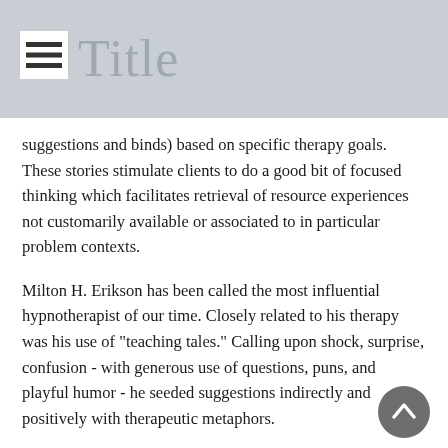Title
suggestions and binds) based on specific therapy goals. These stories stimulate clients to do a good bit of focused thinking which facilitates retrieval of resource experiences not customarily available or associated to in particular problem contexts.
Milton H. Erikson has been called the most influential hypnotherapist of our time. Closely related to his therapy was his use of "teaching tales." Calling upon shock, surprise, confusion - with generous use of questions, puns, and playful humor - he seeded suggestions indirectly and positively with therapeutic metaphors.
Reading his many case studies in such books as ‘Uncommon Therapy’ and the subtle metaphorical approaches of his storytelling in ‘My voice will go with you’ is like entering another dimension. Since it was first published, in 1982, ‘My voice will go with you’